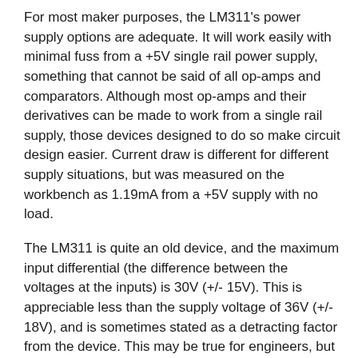For most maker purposes, the LM311's power supply options are adequate. It will work easily with minimal fuss from a +5V single rail power supply, something that cannot be said of all op-amps and comparators. Although most op-amps and their derivatives can be made to work from a single rail supply, those devices designed to do so make circuit design easier. Current draw is different for different supply situations, but was measured on the workbench as 1.19mA from a +5V supply with no load.
The LM311 is quite an old device, and the maximum input differential (the difference between the voltages at the inputs) is 30V (+/- 15V). This is appreciable less than the supply voltage of 36V (+/- 18V), and is sometimes stated as a detracting factor from the device. This may be true for engineers, but for most makers, it is irrelevant.
Most of our projects are powered by 5V or 12V, with a smattering of 24V projects doing the rounds. As these are usually single rail supplies, there will not be a situation in these cases where the gap between the maximum input differential and the maximum supply voltage becomes a problem. It is still a good choice because it is rugged, simple, and very easily available at the retail level. Few other comparators can be bought over the counter at your local